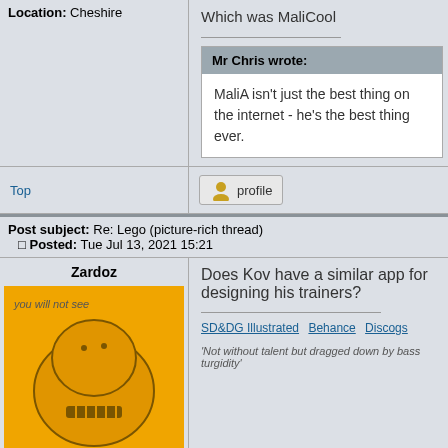Location: Cheshire
Which was MaliCool
Mr Chris wrote:
MaliA isn't just the best thing on the internet - he's the best thing ever.
Top
profile
Post subject: Re: Lego (picture-rich thread)
Posted: Tue Jul 13, 2021 15:21
Zardoz
[Figure (illustration): Yellow cartoon avatar with text 'you will not see' and a creature with teeth]
Hibernating Druid
Joined: 27th Mar, 2008
Posts: 48649
Does Kov have a similar app for designing his trainers?
SD&DG Illustrated   Behance   Discogs
'Not without talent but dragged down by bass turgidity'